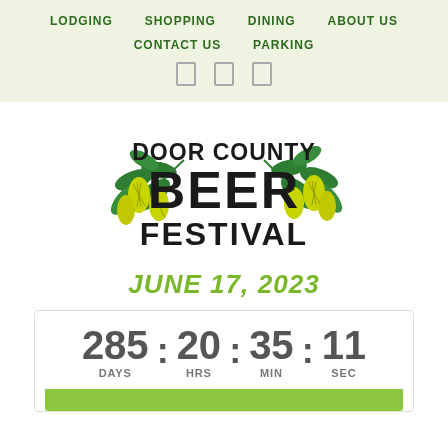LODGING   SHOPPING   DINING   ABOUT US   CONTACT US   PARKING
[Figure (logo): Door County Beer Festival logo with hops illustrations]
JUNE 17, 2023
285 DAYS : 20 HRS : 35 MIN : 11 SEC